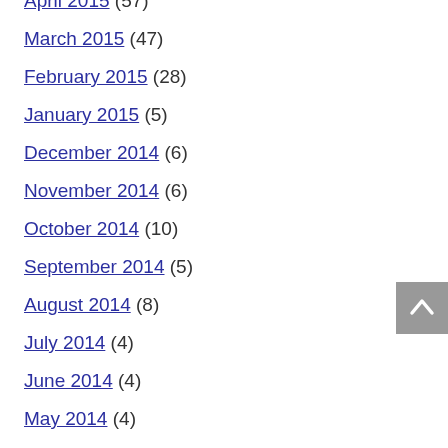April 2015 (57)
March 2015 (47)
February 2015 (28)
January 2015 (5)
December 2014 (6)
November 2014 (6)
October 2014 (10)
September 2014 (5)
August 2014 (8)
July 2014 (4)
June 2014 (4)
May 2014 (4)
April 2014 (5)